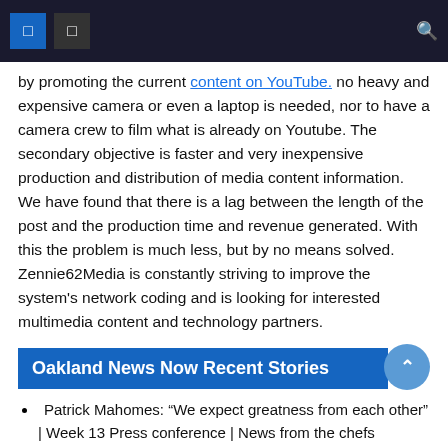[navigation bar with icons and search]
by promoting the current content on YouTube. no heavy and expensive camera or even a laptop is needed, nor to have a camera crew to film what is already on Youtube. The secondary objective is faster and very inexpensive production and distribution of media content information. We have found that there is a lag between the length of the post and the production time and revenue generated. With this the problem is much less, but by no means solved. Zennie62Media is constantly striving to improve the system’s network coding and is looking for interested multimedia content and technology partners.
Oakland News Now Recent Stories
Patrick Mahomes: “We expect greatness from each other” | Week 13 Press conference | News from the chefs December 6, 2021
Torrance Mathieu “Motivated to inspire...